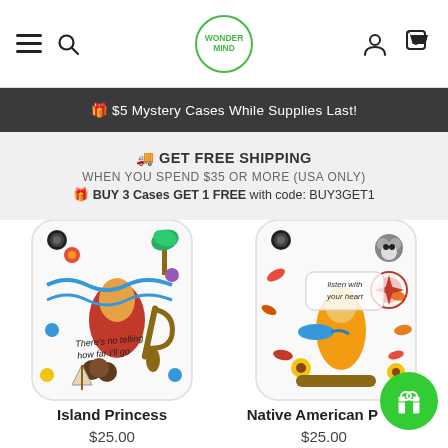WonderKind store header with hamburger menu, search, logo, user icon, and cart (0)
🎁 $5 Mystery Cases While Supplies Last!
🚚 GET FREE SHIPPING
WHEN YOU SPEND $35 OR MORE (USA ONLY)
🎁 BUY 3 Cases GET 1 FREE with code: BUY3GET1
[Figure (photo): Island Princess phone case with Moana-themed illustrations including waves, coconut cookies, a paddle, sailboat, tropical flowers, and text 'There's no telling how far I'll go']
[Figure (photo): Native American Princess phone case with Pocahontas-themed illustrations including a raccoon, hummingbird, leaves, yellow dress, sunflowers, and text 'listen with your heart']
Island Princess
$25.00
Native American Princess
$25.00